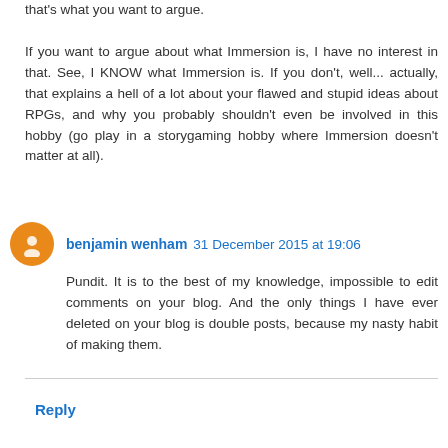that's what you want to argue. If you want to argue about what Immersion is, I have no interest in that. See, I KNOW what Immersion is. If you don't, well... actually, that explains a hell of a lot about your flawed and stupid ideas about RPGs, and why you probably shouldn't even be involved in this hobby (go play in a storygaming hobby where Immersion doesn't matter at all).
benjamin wenham  31 December 2015 at 19:06
Pundit. It is to the best of my knowledge, impossible to edit comments on your blog. And the only things I have ever deleted on your blog is double posts, because my nasty habit of making them.
Reply